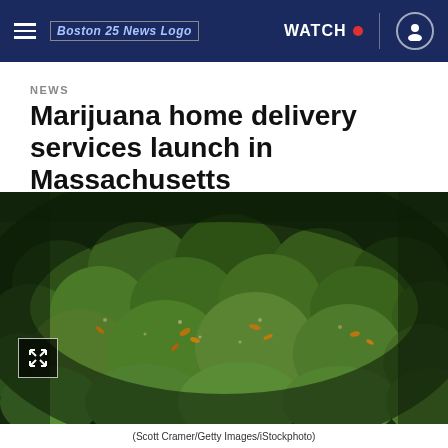Boston 25 News | WATCH
NEWS
Marijuana home delivery services launch in Massachusetts
[Figure (photo): Close-up photo of marijuana cannabis buds, green with orange trichomes, filling the frame]
(Scott Cramer/Getty Images/iStockphoto)